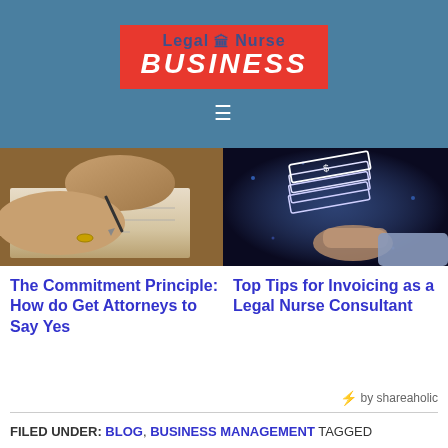Legal Nurse BUSINESS
[Figure (photo): Elderly hands signing a document with a pen on paper]
[Figure (photo): Person holding glowing digital money stack illustration against dark background]
The Commitment Principle: How do Get Attorneys to Say Yes
Top Tips for Invoicing as a Legal Nurse Consultant
by shareaholic
FILED UNDER: BLOG, BUSINESS MANAGEMENT TAGGED